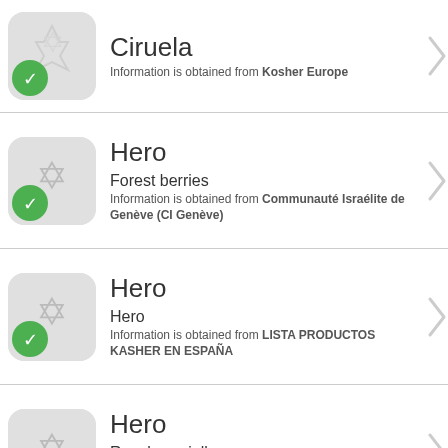Ciruela
Information is obtained from Kosher Europe
Hero
Forest berries
Information is obtained from Communauté Israélite de Genève (CI Genève)
Hero
Hero
Information is obtained from LISTA PRODUCTOS KASHER EN ESPAÑA
Hero
Raspberry jelly
Information is obtained from Communauté Israélite de Genève (CI Genève)
[Figure (illustration): Partial kosher product icon at the bottom of the page]